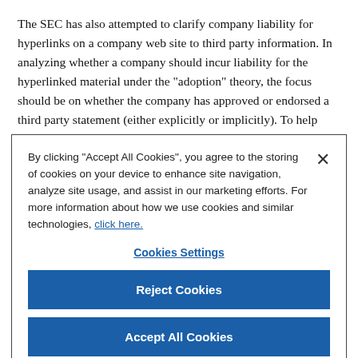The SEC has also attempted to clarify company liability for hyperlinks on a company web site to third party information. In analyzing whether a company should incur liability for the hyperlinked material under the "adoption" theory, the focus should be on whether the company has approved or endorsed a third party statement (either explicitly or implicitly). To help refute an assertion that it has adopted the third party materials, particularly in situations where the context may not be as clear, a company
By clicking "Accept All Cookies", you agree to the storing of cookies on your device to enhance site navigation, analyze site usage, and assist in our marketing efforts. For more information about how we use cookies and similar technologies, click here.
Cookies Settings
Reject Cookies
Accept All Cookies